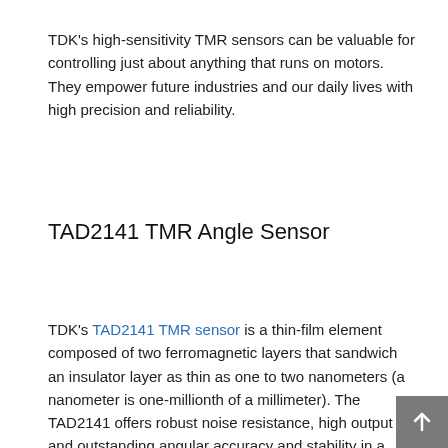TDK's high-sensitivity TMR sensors can be valuable for controlling just about anything that runs on motors. They empower future industries and our daily lives with high precision and reliability.
TAD2141 TMR Angle Sensor
TDK's TAD2141 TMR sensor is a thin-film element composed of two ferromagnetic layers that sandwich an insulator layer as thin as one to two nanometers (a nanometer is one-millionth of a millimeter). The TAD2141 offers robust noise resistance, high output and outstanding angular accuracy and stability in a small package. The TAD4140 features two sensor elements and two